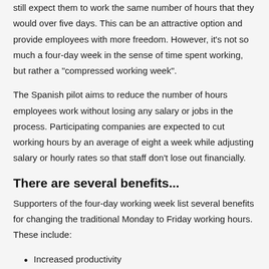still expect them to work the same number of hours that they would over five days. This can be an attractive option and provide employees with more freedom. However, it's not so much a four-day week in the sense of time spent working, but rather a "compressed working week".
The Spanish pilot aims to reduce the number of hours employees work without losing any salary or jobs in the process. Participating companies are expected to cut working hours by an average of eight a week while adjusting salary or hourly rates so that staff don't lose out financially.
There are several benefits...
Supporters of the four-day working week list several benefits for changing the traditional Monday to Friday working hours. These include:
Increased productivity